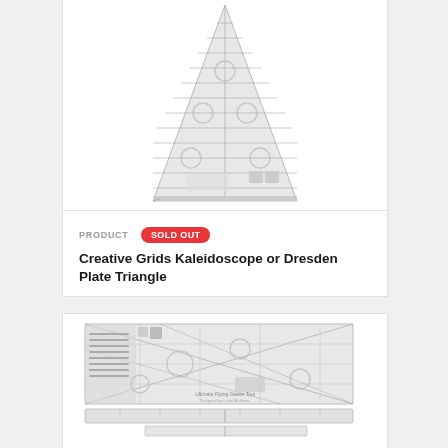[Figure (photo): Triangle quilting ruler - Creative Grids Kaleidoscope or Dresden Plate Triangle ruler, transparent with grid markings and circular grip points]
PRODUCT  SOLD OUT
Creative Grids Kaleidoscope or Dresden Plate Triangle
[Figure (photo): Rectangular quilting ruler set - Ultimate Flying Geese Tool, transparent with diagonal grid lines, circular grip points, and measurement guides]